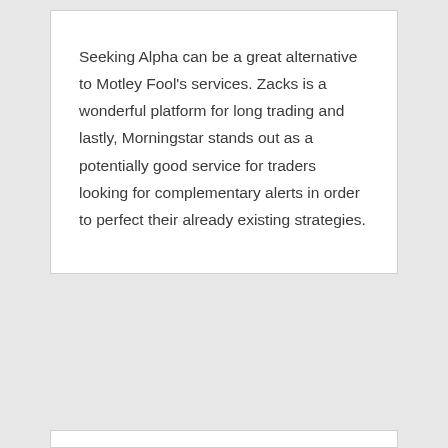Seeking Alpha can be a great alternative to Motley Fool's services. Zacks is a wonderful platform for long trading and lastly, Morningstar stands out as a potentially good service for traders looking for complementary alerts in order to perfect their already existing strategies.